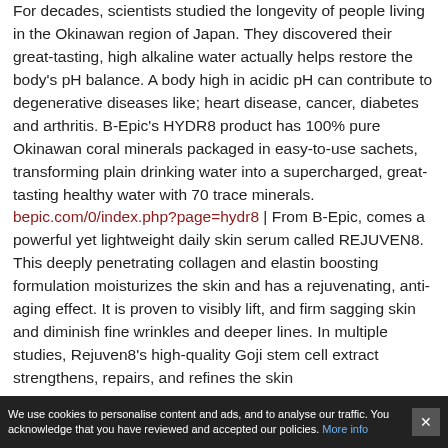For decades, scientists studied the longevity of people living in the Okinawan region of Japan. They discovered their great-tasting, high alkaline water actually helps restore the body's pH balance. A body high in acidic pH can contribute to degenerative diseases like; heart disease, cancer, diabetes and arthritis. B-Epic's HYDR8 product has 100% pure Okinawan coral minerals packaged in easy-to-use sachets, transforming plain drinking water into a supercharged, great-tasting healthy water with 70 trace minerals. bepic.com/0/index.php?page=hydr8 | From B-Epic, comes a powerful yet lightweight daily skin serum called REJUVEN8. This deeply penetrating collagen and elastin boosting formulation moisturizes the skin and has a rejuvenating, anti-aging effect. It is proven to visibly lift, and firm sagging skin and diminish fine wrinkles and deeper lines. In multiple studies, Rejuven8's high-quality Goji stem cell extract strengthens, repairs, and refines the skin
We use cookies to personalise content and ads, and to analyse our traffic. You acknowledge that you have reviewed and accepted our policies. More info